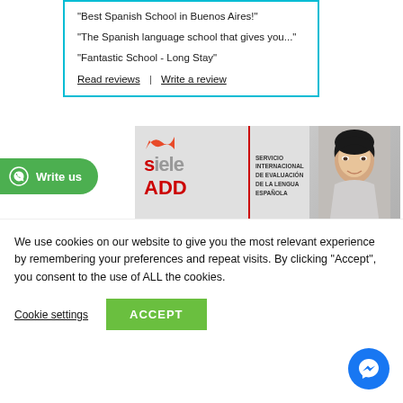“Best Spanish School in Buenos Aires!”
“The Spanish language school that gives you...”
“Fantastic School - Long Stay”
Read reviews | Write a review
[Figure (screenshot): Green WhatsApp button reading 'Write us' on left side of page]
[Figure (screenshot): SIELE banner advertisement with logo, text SERVICIO INTERNACIONAL DE EVALUACION DE LA LENGUA ESPANOLA, ADD text in red, and photo of young Asian man smiling]
We use cookies on our website to give you the most relevant experience by remembering your preferences and repeat visits. By clicking “Accept”, you consent to the use of ALL the cookies.
Cookie settings
ACCEPT